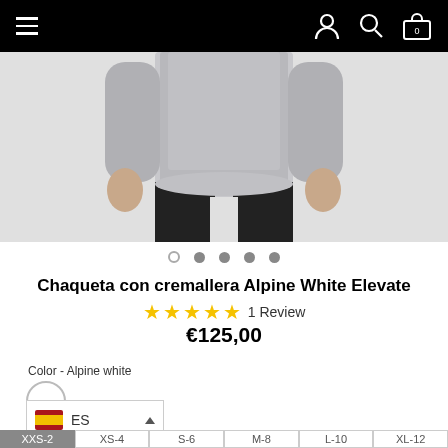Navigation bar with hamburger menu, user icon, search icon, and cart (0)
[Figure (photo): Product photo of a person wearing a grey long-sleeve shirt with black pants, showing torso and hands]
• ● ● ● ● (carousel dots)
Chaqueta con cremallera Alpine White Elevate
★★★★★ 1 Review
€125,00
Color - Alpine white
ES (language selector with Spanish flag)
XXS-2  XS-4  S-6  M-8  L-10  XL-12 (size buttons)